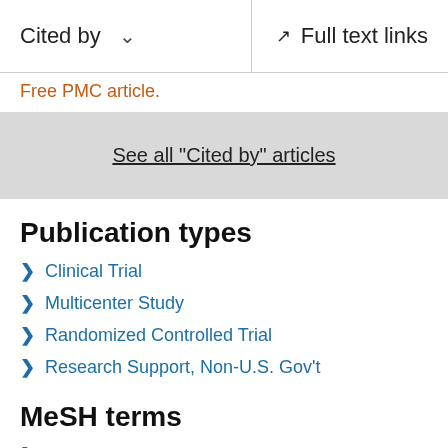Cited by | Full text links
Free PMC article.
See all "Cited by" articles
Publication types
Clinical Trial
Multicenter Study
Randomized Controlled Trial
Research Support, Non-U.S. Gov't
MeSH terms
Adolescent